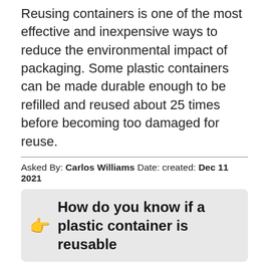Reusing containers is one of the most effective and inexpensive ways to reduce the environmental impact of packaging. Some plastic containers can be made durable enough to be refilled and reused about 25 times before becoming too damaged for reuse.
Asked By: Carlos Williams Date: created: Dec 11 2021
How do you know if a plastic container is reusable
Answered By: Louis James Date: created: Dec 11 2021
Identify the Plastic Number If you find as #2, #4, or #5 plastic, those are fairly safe to reuse. These contain low levels of polyethylene thermoplastic, low